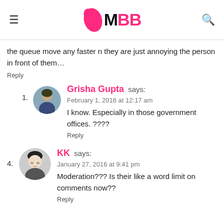IMBB
the queue move any faster n they are just annoying the person in front of them…
Reply
Grisha Gupta says:
February 1, 2016 at 12:17 am
I know. Especially in those government offices. ????
Reply
KK says:
January 27, 2016 at 9:41 pm
Moderation??? Is their like a word limit on comments now??
Reply